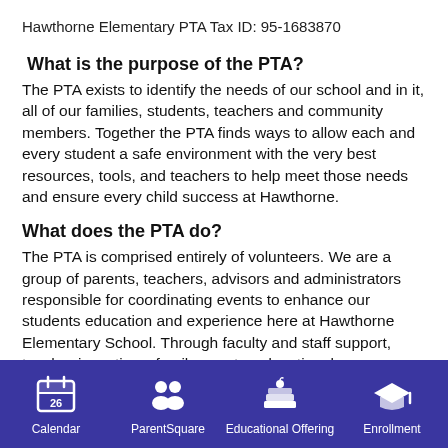Hawthorne Elementary PTA Tax ID: 95-1683870
What is the purpose of the PTA?
The PTA exists to identify the needs of our school and in it, all of our families, students, teachers and community members. Together the PTA finds ways to allow each and every student a safe environment with the very best resources, tools, and teachers to help meet those needs and ensure every child success at Hawthorne.
What does the PTA do?
The PTA is comprised entirely of volunteers. We are a group of parents, teachers, advisors and administrators responsible for coordinating events to enhance our students education and experience here at Hawthorne Elementary School. Through faculty and staff support, teacher incentives, family events, educational
Calendar | ParentSquare | Educational Offering | Enrollment